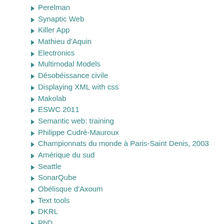Perelman
Synaptic Web
Killer App
Mathieu d'Aquin
Electronics
Multimodal Models
Désobéissance civile
Displaying XML with css
Makolab
ESWC 2011
Semantic web: training
Philippe Cudré-Mauroux
Championnats du monde à Paris-Saint Denis, 2003
Amérique du sud
Seattle
SonarQube
Obélisque d'Axoum
Text tools
DKRL
PhD
DVD
Cheat sheet
Equivalence mining
Faille de sécurité
ML: conditioning
Jail
NLP datasets
Jeux
Multidevice
"one learning algorithm" hypothesis